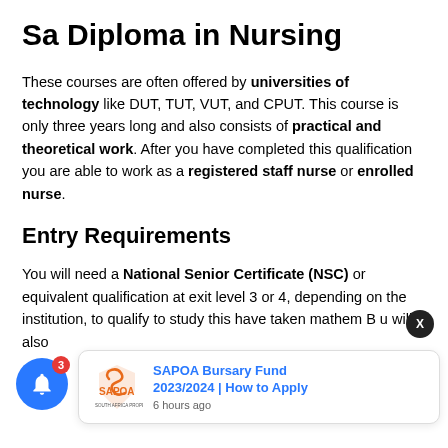Sa Diploma in Nursing
These courses are often offered by universities of technology like DUT, TUT, VUT, and CPUT. This course is only three years long and also consists of practical and theoretical work. After you have completed this qualification you are able to work as a registered staff nurse or enrolled nurse.
Entry Requirements
You will need a National Senior Certificate (NSC) or equivalent qualification at exit level 3 or 4, depending on the institution, to qualify to study this… have taken mathem… B… u will also
[Figure (other): Blue notification bell icon with red badge showing 3, and SAPOA Bursary Fund 2023/2024 popup card with orange SAPOA logo and close X button]